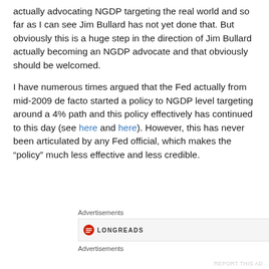actually advocating NGDP targeting the real world and so far as I can see Jim Bullard has not yet done that. But obviously this is a huge step in the direction of Jim Bullard actually becoming an NGDP advocate and that obviously should be welcomed.
I have numerous times argued that the Fed actually from mid-2009 de facto started a policy to NGDP level targeting around a 4% path and this policy effectively has continued to this day (see here and here). However, this has never been articulated by any Fed official, which makes the “policy” much less effective and less credible.
Advertisements
[Figure (logo): Longreads advertisement logo with red circular icon and LONGREADS text]
Advertisements